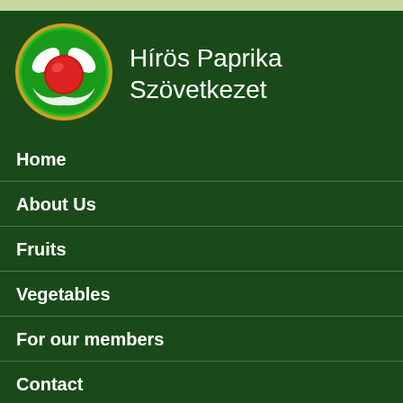[Figure (logo): Green circular logo with white leaf shapes and a red apple/ball in the center, gold border ring]
Hírös Paprika Szövetkezet
Home
About Us
Fruits
Vegetables
For our members
Contact
English
Deutsch